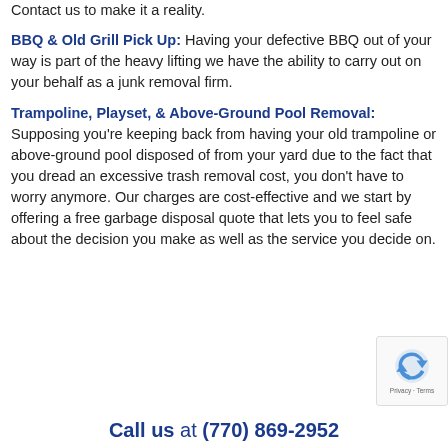Contact us to make it a reality.
BBQ & Old Grill Pick Up: Having your defective BBQ out of your way is part of the heavy lifting we have the ability to carry out on your behalf as a junk removal firm.
Trampoline, Playset, & Above-Ground Pool Removal: Supposing you're keeping back from having your old trampoline or above-ground pool disposed of from your yard due to the fact that you dread an excessive trash removal cost, you don't have to worry anymore. Our charges are cost-effective and we start by offering a free garbage disposal quote that lets you to feel safe about the decision you make as well as the service you decide on.
Call us at (770) 869-2952